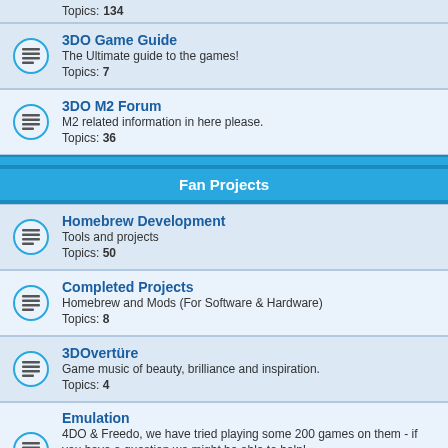Topics: 134
3DO Game Guide
The Ultimate guide to the games!
Topics: 7
3DO M2 Forum
M2 related information in here please.
Topics: 36
Fan Projects
Homebrew Development
Tools and projects
Topics: 50
Completed Projects
Homebrew and Mods (For Software & Hardware)
Topics: 8
3DOvertüre
Game music of beauty, brilliance and inspiration.
Topics: 4
Emulation
4DO & Freedo, we have tried playing some 200 games on them - if you have a question we might be able to help!
Moderators: Devin, Bas, 3DOKid
Topics: 56
Suggested Projects
What would you like to see done?
Topics: 17
Other ZONE Forums
Atari Jaguar forum